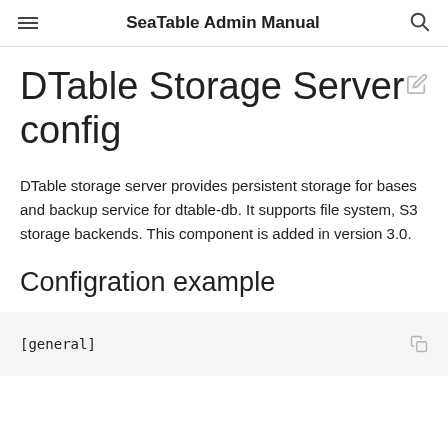SeaTable Admin Manual
DTable Storage Server config
DTable storage server provides persistent storage for bases and backup service for dtable-db. It supports file system, S3 storage backends. This component is added in version 3.0.
Configration example
[general]